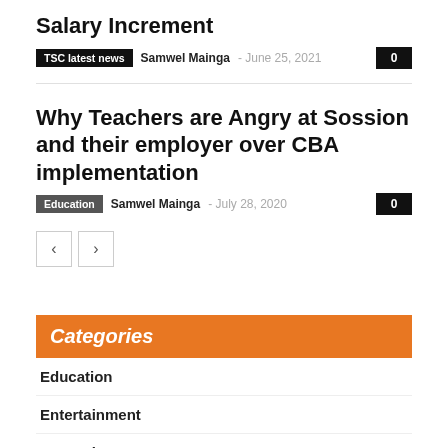Salary Increment
TSC latest news  Samwel Mainga  -  June 25, 2021  0
Why Teachers are Angry at Sossion and their employer over CBA implementation
Education  Samwel Mainga  -  July 28, 2020  0
Categories
Education
Entertainment
General News
Knec news